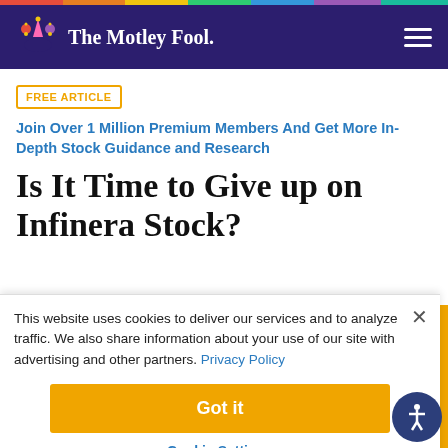The Motley Fool
FREE ARTICLE | Join Over 1 Million Premium Members And Get More In-Depth Stock Guidance and Research
Is It Time to Give up on Infinera Stock?
This website uses cookies to deliver our services and to analyze traffic. We also share information about your use of our site with advertising and other partners. Privacy Policy
Got it
Cookie Settings